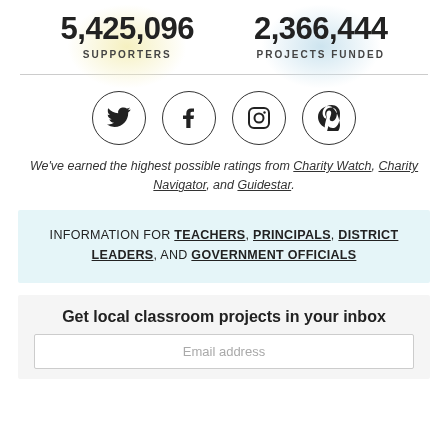5,425,096 SUPPORTERS | 2,366,444 PROJECTS FUNDED
[Figure (other): Social media icons: Twitter, Facebook, Instagram, Pinterest in circular outlines]
We've earned the highest possible ratings from Charity Watch, Charity Navigator, and Guidestar.
INFORMATION FOR TEACHERS, PRINCIPALS, DISTRICT LEADERS, AND GOVERNMENT OFFICIALS
Get local classroom projects in your inbox
Email address